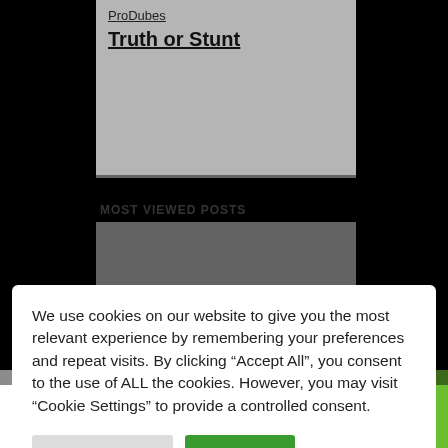ProDubes
Truth or Stunt
MOST VIEWED POSTS
We use cookies on our website to give you the most relevant experience by remembering your preferences and repeat visits. By clicking “Accept All”, you consent to the use of ALL the cookies. However, you may visit “Cookie Settings” to provide a controlled consent.
Cookie Settings | Accept All
5 Shares